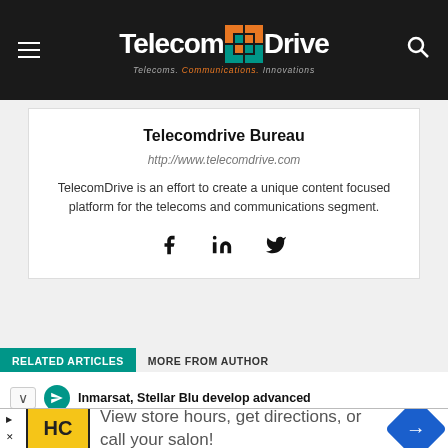TelecomDrive — Telecoms. Communications. Innovations.
Telecomdrive Bureau
http://www.telecomdrive.com
TelecomDrive is an effort to create a unique content focused platform for the telecoms and communications segment.
[Figure (infographic): Social media icons: Facebook, LinkedIn, Twitter]
RELATED ARTICLES   MORE FROM AUTHOR
Inmarsat, Stellar Blu develop advanced
[Figure (infographic): Advertisement banner: HC logo, 'View store hours, get directions, or call your salon!' with navigation icon]